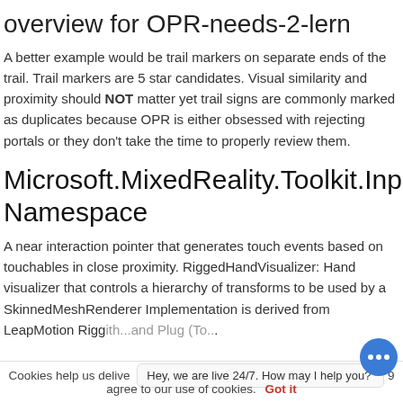overview for OPR-needs-2-lern
A better example would be trail markers on separate ends of the trail. Trail markers are 5 star candidates. Visual similarity and proximity should NOT matter yet trail signs are commonly marked as duplicates because OPR is either obsessed with rejecting portals or they don't take the time to properly review them.
Microsoft.MixedReality.Toolkit.Input Namespace
A near interaction pointer that generates touch events based on touchables in close proximity. RiggedHandVisualizer: Hand visualizer that controls a hierarchy of transforms to be used by a SkinnedMeshRenderer Implementation is derived from LeapMotion Rigged...
Cookies help us delive... agree to our use of cookies. Got it